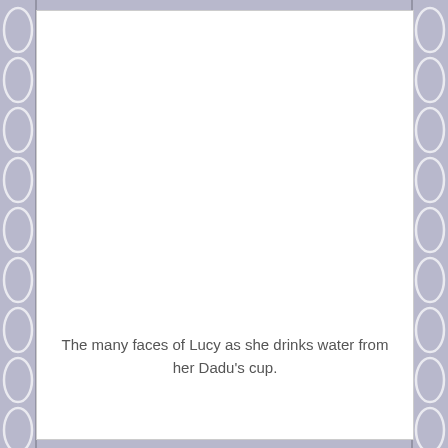[Figure (illustration): Decorative page border with oval/ellipse repeating pattern on left and right sides in lavender/blue-grey color, surrounding a white inner page area.]
The many faces of Lucy as she drinks water from her Dadu's cup.